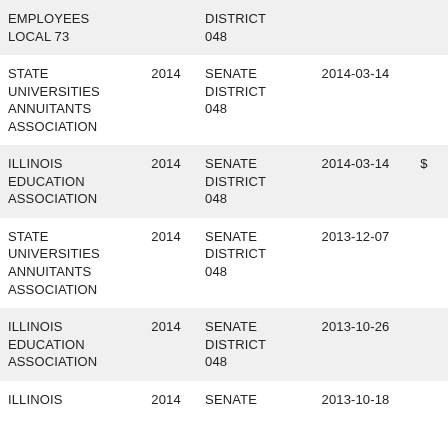| EMPLOYEES LOCAL 73 |  | DISTRICT 048 |  |  |
| STATE UNIVERSITIES ANNUITANTS ASSOCIATION | 2014 | SENATE DISTRICT 048 | 2014-03-14 |  |
| ILLINOIS EDUCATION ASSOCIATION | 2014 | SENATE DISTRICT 048 | 2014-03-14 | $ |
| STATE UNIVERSITIES ANNUITANTS ASSOCIATION | 2014 | SENATE DISTRICT 048 | 2013-12-07 |  |
| ILLINOIS EDUCATION ASSOCIATION | 2014 | SENATE DISTRICT 048 | 2013-10-26 |  |
| ILLINOIS | 2014 | SENATE | 2013-10-18 |  |